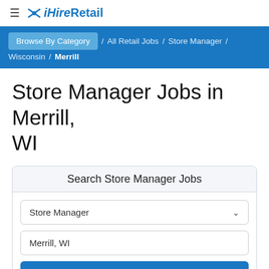≡ ✕ iHireRetail
Browse By Category / All Retail Jobs / Store Manager / Wisconsin / Merrill
Store Manager Jobs in Merrill, WI
Search Store Manager Jobs
Store Manager
Merrill, WI
Search